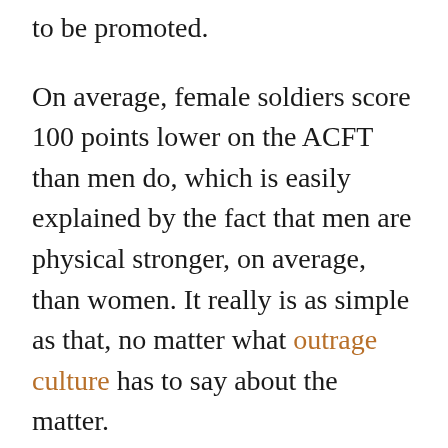to be promoted.
On average, female soldiers score 100 points lower on the ACFT than men do, which is easily explained by the fact that men are physical stronger, on average, than women. It really is as simple as that, no matter what outrage culture has to say about the matter.
Even so, changes are expected to come that will make it easier for women to pass the ACFT, producing a more equal outcome. Even if women are unable to physically